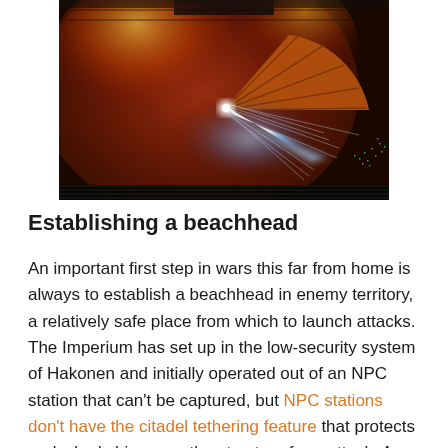[Figure (photo): Science fiction / game screenshot showing a large dish or antenna structure with a bright blue energy beam emanating from its center, surrounded by orange-red fire and light effects, with a dark metallic grid structure in the background.]
Establishing a beachhead
An important first step in wars this far from home is always to establish a beachhead in enemy territory, a relatively safe place from which to launch attacks. The Imperium has set up in the low-security system of Hakonen and initially operated out of an NPC station that can't be captured, but NPC stations don't have the citadel tethering feature that protects undocked ships near the structure from attack. As a result, NPC